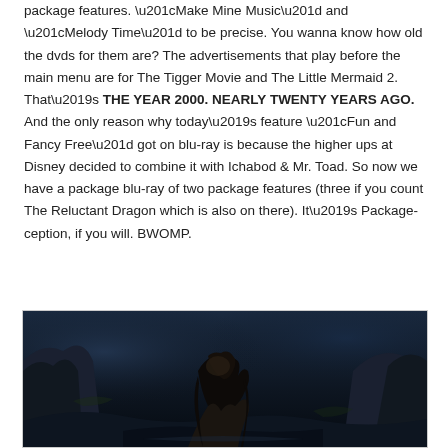package features. “Make Mine Music” and “Melody Time” to be precise. You wanna know how old the dvds for them are? The advertisements that play before the main menu are for The Tigger Movie and The Little Mermaid 2. That’s THE YEAR 2000. NEARLY TWENTY YEARS AGO. And the only reason why today’s feature “Fun and Fancy Free” got on blu-ray is because the higher ups at Disney decided to combine it with Ichabod & Mr. Toad. So now we have a package blu-ray of two package features (three if you count The Reluctant Dragon which is also on there). It’s Package-ception, if you will. BWOMP.
[Figure (photo): A dark, moody scene showing a figure with long dark hair crouching among rocks in a dimly lit, blue-tinted forest or cave environment.]